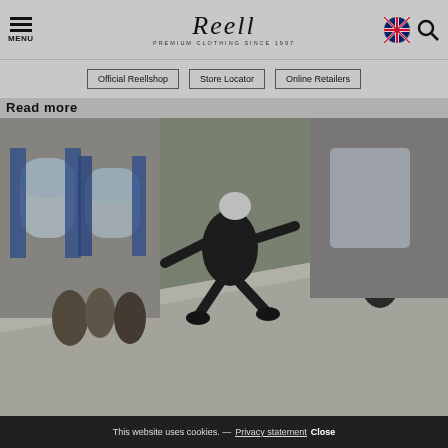MENU | Reell PREMIUM CLOTHING SINCE 1997 | [UK flag] [Search]
Official Reellshop  Store Locator  Online Retailers
Read more
[Figure (photo): Skateboarder performing a trick on a ramp inside a building with blue curtains and arched windows. A photographer watches in the background.]
This website uses cookies. — Privacy statement  Close